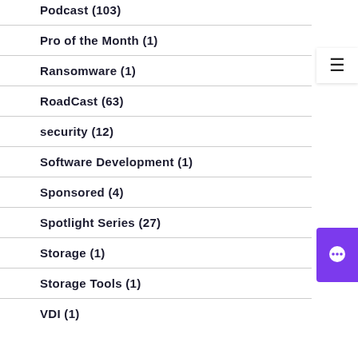Podcast (103)
Pro of the Month (1)
Ransomware (1)
RoadCast (63)
security (12)
Software Development (1)
Sponsored (4)
Spotlight Series (27)
Storage (1)
Storage Tools (1)
VDI (1)